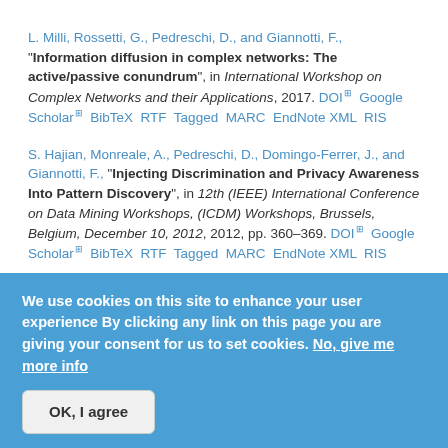L. Milli, Rossetti, G., Pedreschi, D., and Giannotti, F., "Information diffusion in complex networks: The active/passive conundrum", in International Workshop on Complex Networks and their Applications, 2017. DOI Google Scholar BibTeX RTF Tagged MARC EndNote XML RIS
S. Hajian, Monreale, A., Pedreschi, D., Domingo-Ferrer, J., and Giannotti, F., "Injecting Discrimination and Privacy Awareness Into Pattern Discovery", in 12th (IEEE) International Conference on Data Mining Workshops, (ICDM) Workshops, Brussels, Belgium, December 10, 2012, 2012, pp. 360–369. DOI Google Scholar BibTeX RTF Tagged MARC EndNote XML RIS
We use cookies on this site to enhance your user experience By clicking any link on this page you are giving your consent for us to set cookies. No, give me more info